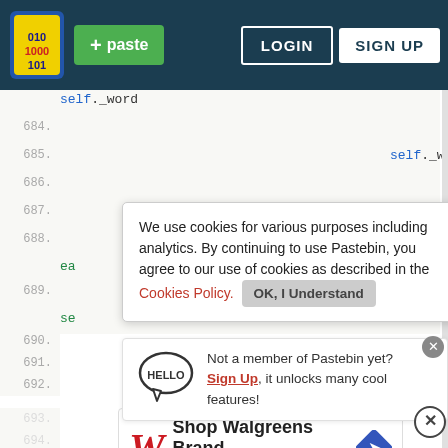[Figure (screenshot): Pastebin website navigation bar with logo, green paste button, LOGIN and SIGN UP buttons on dark teal background]
self._word
684.    ),
685.    self._word
686.    )
687.
688.
ea
689.
se
We use cookies for various purposes including analytics. By continuing to use Pastebin, you agree to our use of cookies as described in the Cookies Policy.  OK, I Understand
Not a member of Pastebin yet? Sign Up, it unlocks many cool features!
[Figure (illustration): Shop Walgreens Brand - Walgreens Photo advertisement banner]